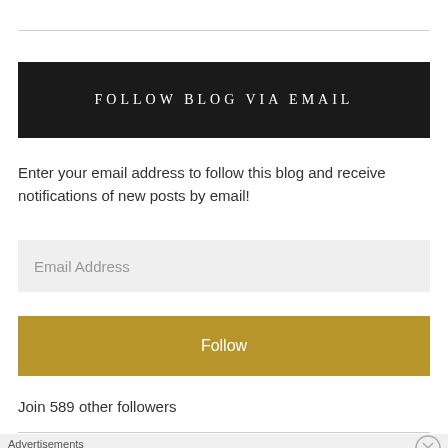FOLLOW BLOG VIA EMAIL
Enter your email address to follow this blog and receive notifications of new posts by email!
Email Address
Follow
Join 589 other followers
Advertisements
[Figure (illustration): WooCommerce advertisement banner: 'How to start selling subscriptions online']